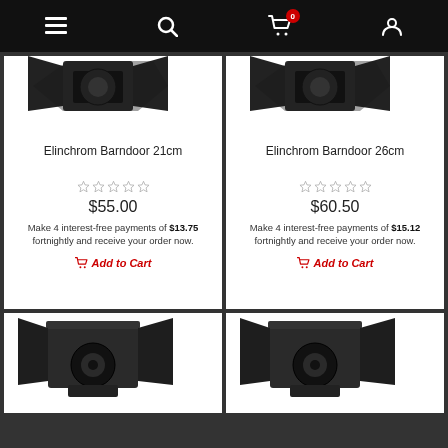Navigation bar with menu, search, cart (0), and user account icons
Elinchrom Barndoor 21cm
☆☆☆☆☆
$55.00
Make 4 interest-free payments of $13.75 fortnightly and receive your order now.
Add to Cart
Elinchrom Barndoor 26cm
☆☆☆☆☆
$60.50
Make 4 interest-free payments of $15.12 fortnightly and receive your order now.
Add to Cart
[Figure (photo): Partial product image of an Elinchrom barndoor accessory, dark/black colored]
[Figure (photo): Partial product image of an Elinchrom barndoor accessory, dark/black colored]